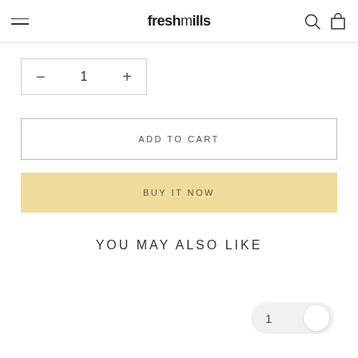freshmills
− 1 +
ADD TO CART
BUY IT NOW
YOU MAY ALSO LIKE
[Figure (other): A pill-shaped toggle/quantity control with the number 1 and a white circle on the right side]